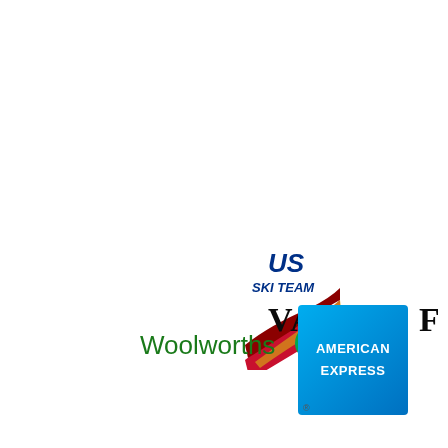[Figure (logo): US Ski Team logo with red swoosh and blue text]
[Figure (logo): Vanity Fair logo in bold black serif capitals]
[Figure (logo): Woolworths logo with green text and circular icon]
[Figure (logo): American Express logo white text on blue gradient square]